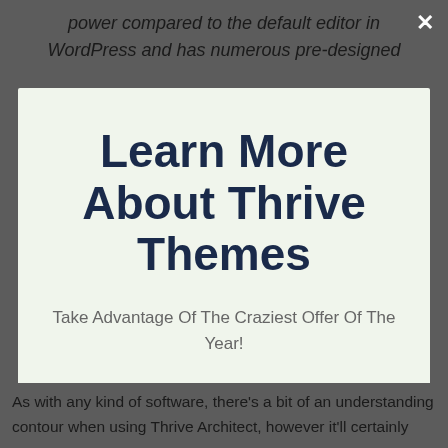power compared to the default editor in WordPress and has numerous pre-designed
Learn More About Thrive Themes
Take Advantage Of The Craziest Offer Of The Year!
CHECK OUT THE OFFICIAL THRIVE SITE HERE
No thanks, I'm not interested!
As with any kind of software, there's a bit of an understanding contour when using Thrive Architect, however it'll certainly